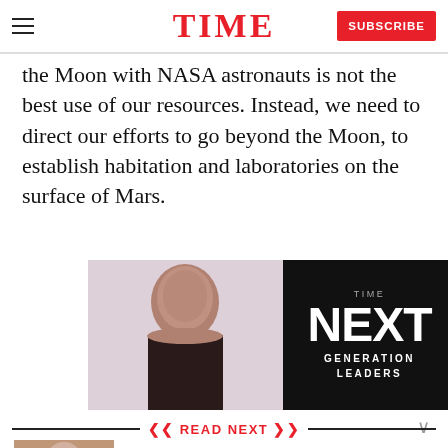TIME — SUBSCRIBE
the Moon with NASA astronauts is not the best use of our resources. Instead, we need to direct our efforts to go beyond the Moon, to establish habitation and laboratories on the surface of Mars.
[Figure (advertisement): TIME Next Generation Leaders advertisement with a photo of a person and dark panel with text NEXT GENERATION LEADERS]
READ NEXT
[Figure (photo): Thumbnail photo for Calvin Klein article]
Poll: Are Calvin Klein Ads Sexual or Sexist?